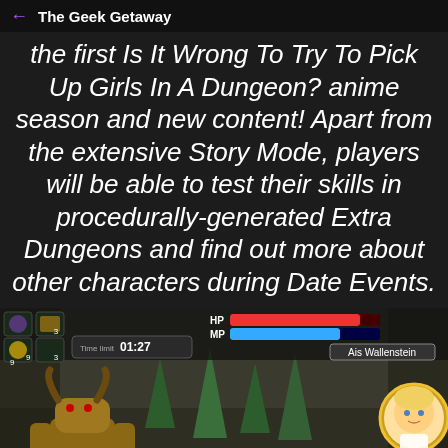← The Geek Getaway
the first Is It Wrong To Try To Pick Up Girls In A Dungeon? anime season and new content! Apart from the extensive Story Mode, players will be able to test their skills in procedurally-generated Extra Dungeons and find out more about other characters during Date Events.
[Figure (screenshot): Mobile game screenshot showing a dungeon battle scene with a minotaur enemy, HP and MP bars, a timer showing 01:27, character portrait of Ais Wallenstein, score of 144, and game UI elements including items and health indicators.]